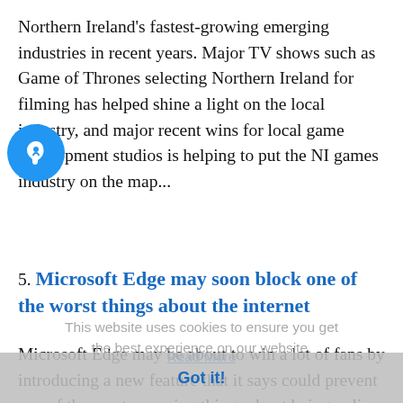Northern Ireland's fastest-growing emerging industries in recent years. Major TV shows such as Game of Thrones selecting Northern Ireland for filming has helped shine a light on the local industry, and major recent wins for local game development studios is helping to put the NI games industry on the map...
5. Microsoft Edge may soon block one of the worst things about the internet
This website uses cookies to ensure you get the best experience on our website.
Microsoft Edge may be about to win a lot of fans by introducing a new feature that it says could prevent one of the most annoying things about being online. A new update to the browser suggests it is looking at a way to block auto-playing videos by default when a user navigates to a website. Techdows spotted a new entry to the